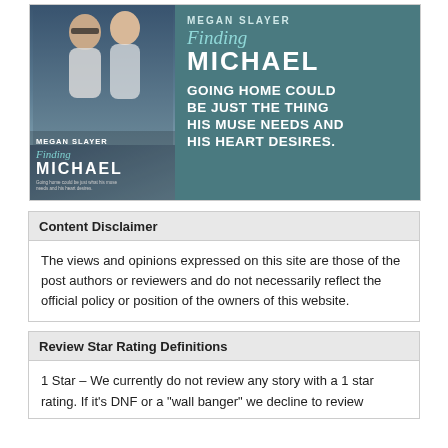[Figure (illustration): Book promotional banner for 'Finding Michael' by Megan Slayer. Left side shows book cover with two male figures and teal/dark background. Right side shows teal background with author name MEGAN SLAYER, cursive 'Finding' and bold 'MICHAEL' title, and tagline: GOING HOME COULD BE JUST THE THING HIS MUSE NEEDS AND HIS HEART DESIRES.]
Content Disclaimer
The views and opinions expressed on this site are those of the post authors or reviewers and do not necessarily reflect the official policy or position of the owners of this website.
Review Star Rating Definitions
1 Star – We currently do not review any story with a 1 star rating. If it's DNF or a "wall banger" we decline to review